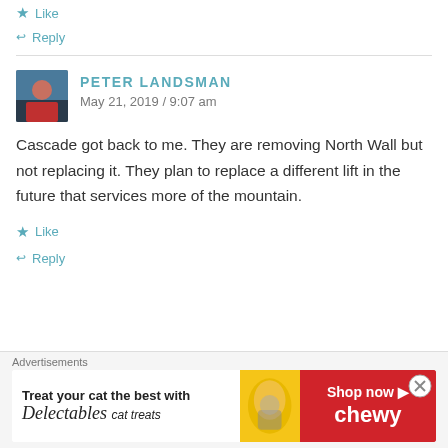Like
Reply
PETER LANDSMAN
May 21, 2019 / 9:07 am
Cascade got back to me. They are removing North Wall but not replacing it. They plan to replace a different lift in the future that services more of the mountain.
Like
Reply
[Figure (photo): Advertisement banner: Treat your cat the best with Delectables cat treats, Shop now Chewy]
Advertisements